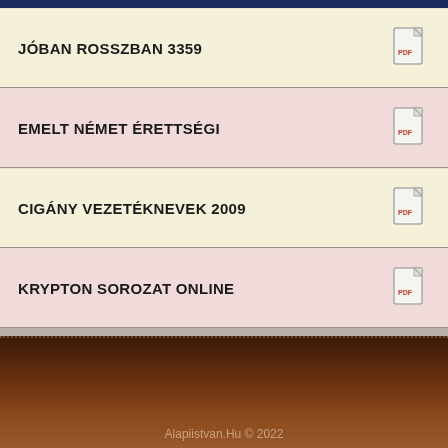JÓBAN ROSSZBAN 3359
EMELT NÉMET ÉRETTSÉGI
CIGÁNY VEZETÉKNEVEK 2009
KRYPTON SOROZAT ONLINE
Alapiistvan.Hu © 2022
Oldalunk használatával beleegyezik abba, hogy cookie-kat használjunk a jobb oldali élmény érdekében.